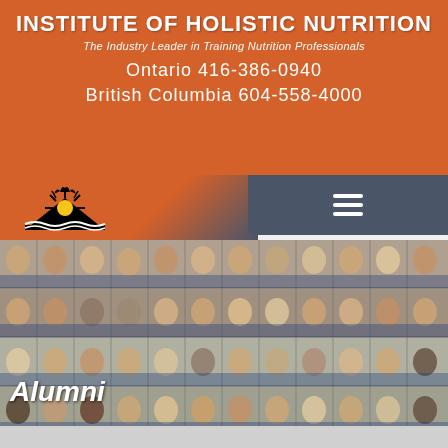INSTITUTE OF HOLISTIC NUTRITION
The Industry Leader in Training Nutrition Professionals
Ontario 416-386-0940
British Columbia 604-558-4000
[Figure (logo): Institute of Holistic Nutrition logo — stylized sunrise over water with book/mountains, black and yellow on orange background]
[Figure (photo): Group photo collage of many alumni graduates in blue graduation sashes, arranged in rows of headshots]
Alumni